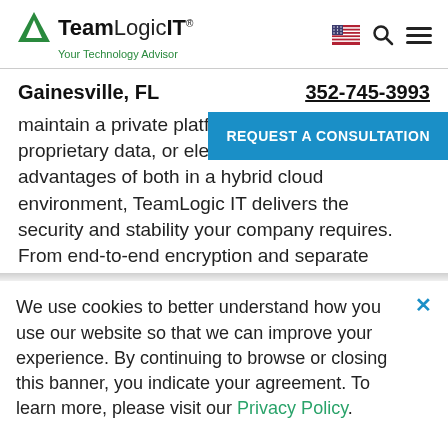[Figure (logo): TeamLogic IT logo with green triangle and text 'TeamLogic IT® Your Technology Advisor']
Gainesville, FL
352-745-3993
maintain a private platfo... proprietary data, or ele... advantages of both in a hybrid cloud environment, TeamLogic IT delivers the security and stability your company requires. From end-to-end encryption and separate
REQUEST A CONSULTATION
We use cookies to better understand how you use our website so that we can improve your experience. By continuing to browse or closing this banner, you indicate your agreement. To learn more, please visit our Privacy Policy.